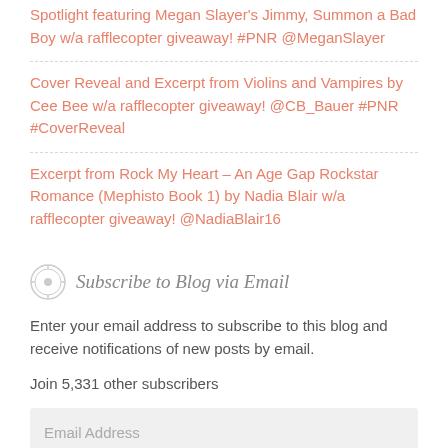Spotlight featuring Megan Slayer's Jimmy, Summon a Bad Boy w/a rafflecopter giveaway! #PNR @MeganSlayer
Cover Reveal and Excerpt from Violins and Vampires by Cee Bee w/a rafflecopter giveaway! @CB_Bauer #PNR #CoverReveal
Excerpt from Rock My Heart – An Age Gap Rockstar Romance (Mephisto Book 1) by Nadia Blair w/a rafflecopter giveaway! @NadiaBlair16
Subscribe to Blog via Email
Enter your email address to subscribe to this blog and receive notifications of new posts by email.
Join 5,331 other subscribers
Email Address